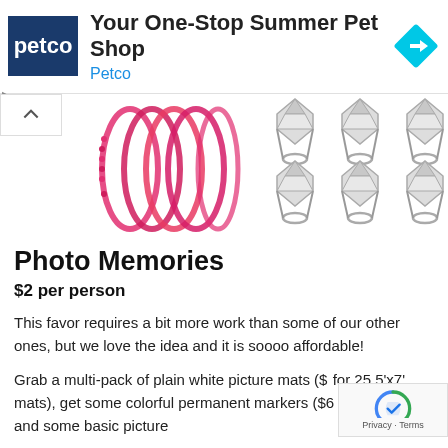[Figure (logo): Petco advertisement banner with navy blue Petco logo on left, ad title 'Your One-Stop Summer Pet Shop', brand name 'Petco' in blue, and a cyan diamond road sign arrow on the right]
[Figure (photo): Product photo showing pink/red beaded necklaces on the left and six diamond ring novelty items arranged in two rows of three on the right, on a white background]
Photo Memories
$2 per person
This favor requires a bit more work than some of our other ones, but we love the idea and it is soooo affordable!
Grab a multi-pack of plain white picture mats ($  for 25 5'x7' mats), get some colorful permanent markers ($6 for 8 colors), and some basic picture